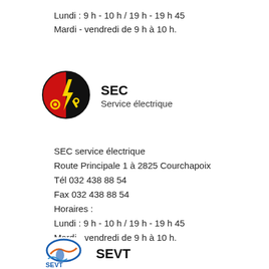Lundi : 9 h - 10 h / 19 h - 19 h 45
Mardi - vendredi de 9 h à 10 h.
[Figure (logo): SEC logo: circular badge with red and black sectors, yellow lightning bolt, gear and wrench symbols]
SEC
Service électrique
SEC service électrique
Route Principale 1 à 2825 Courchapoix
Tél 032 438 88 54
Fax 032 438 88 54
Horaires :
Lundi : 9 h - 10 h / 19 h - 19 h 45
Mardi - vendredi de 9 h à 10 h.
[Figure (logo): SEVT logo: colorful logo with blue and orange wave/water imagery and text SEVT]
SEVT